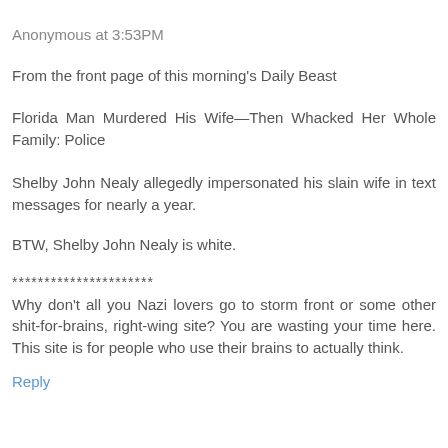Anonymous at 3:53PM
From the front page of this morning's Daily Beast
Florida Man Murdered His Wife—Then Whacked Her Whole Family: Police
Shelby John Nealy allegedly impersonated his slain wife in text messages for nearly a year.
BTW, Shelby John Nealy is white.
**********************
Why don't all you Nazi lovers go to storm front or some other shit-for-brains, right-wing site? You are wasting your time here. This site is for people who use their brains to actually think.
Reply